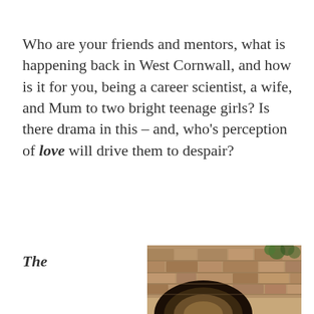Who are your friends and mentors, what is happening back in West Cornwall, and how is it for you, being a career scientist, a wife, and Mum to two bright teenage girls? Is there drama in this – and, who's perception of love will drive them to despair?
The
[Figure (photo): A stone bridge arch photograph, showing weathered reddish-brown stonework of an old arched bridge with vegetation, viewed from below with a dark arch opening in the foreground.]